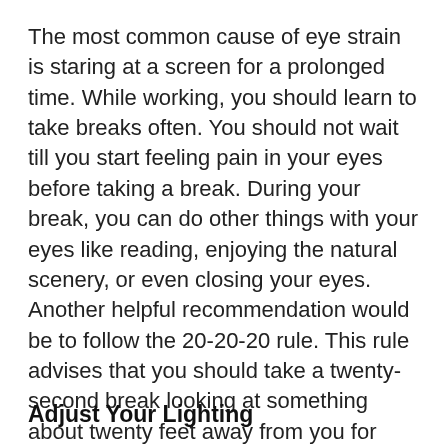The most common cause of eye strain is staring at a screen for a prolonged time. While working, you should learn to take breaks often. You should not wait till you start feeling pain in your eyes before taking a break. During your break, you can do other things with your eyes like reading, enjoying the natural scenery, or even closing your eyes. Another helpful recommendation would be to follow the 20-20-20 rule. This rule advises that you should take a twenty-second break looking at something about twenty feet away from you for every twenty minutes of screen work.
Adjust Your Lighting